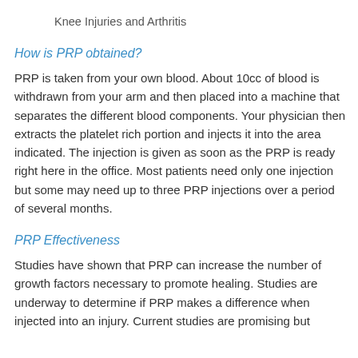Knee Injuries and Arthritis
How is PRP obtained?
PRP is taken from your own blood. About 10cc of blood is withdrawn from your arm and then placed into a machine that separates the different blood components. Your physician then extracts the platelet rich portion and injects it into the area indicated. The injection is given as soon as the PRP is ready right here in the office. Most patients need only one injection but some may need up to three PRP injections over a period of several months.
PRP Effectiveness
Studies have shown that PRP can increase the number of growth factors necessary to promote healing. Studies are underway to determine if PRP makes a difference when injected into an injury. Current studies are promising but